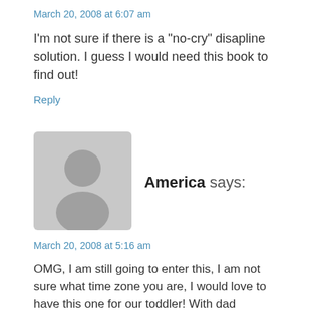March 20, 2008 at 6:07 am
I'm not sure if there is a "no-cry" disapline solution. I guess I would need this book to find out!
Reply
[Figure (illustration): Generic user avatar icon showing a silhouette of a person on a grey rounded square background]
America says:
March 20, 2008 at 5:16 am
OMG, I am still going to enter this, I am not sure what time zone you are, I would love to have this one for our toddler! With dad deployed I am putting so much pressure on myself for his toddler acting out and how to correct it.
Reply